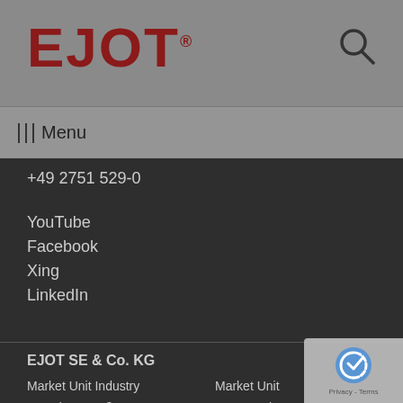EJOT®
Menu
+49 2751 529-0
YouTube
Facebook
Xing
LinkedIn
EJOT SE & Co. KG
Market Unit Industry
Astenbergstraße 21
57319 Bad Berleburg
+49 2751 529-0
Market Unit Construction
In der Stockwiese 35
57334 Bad Laasphe
+49 2752 908-0